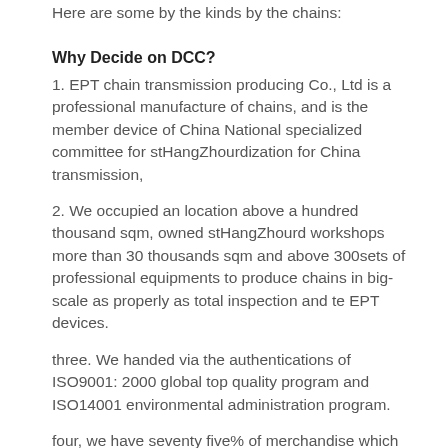Here are some by the kinds by the chains:
Why Decide on DCC?
1. EPT chain transmission producing Co., Ltd is a professional manufacture of chains, and is the member device of China National specialized committee for stHangZhourdization for China transmission,
2. We occupied an location above a hundred thousand sqm, owned stHangZhourd workshops more than 30 thousands sqm and above 300sets of professional equipments to produce chains in big-scale as properly as total inspection and te EPT devices.
three. We handed via the authentications of ISO9001: 2000 global top quality program and ISO14001 environmental administration program.
four, we have seventy five% of merchandise which are exported to Europe, The usa, Japan, Southea EPT Asia,